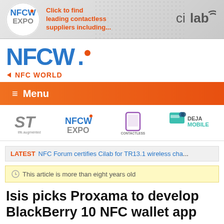[Figure (logo): NFCW EXPO banner advertisement with 'Click to find leading contactless suppliers including...' text and Cilab logo]
[Figure (logo): NFCW. NFC WORLD logo in blue with orange dot]
[Figure (logo): Orange navigation menu bar with hamburger icon and Menu text]
[Figure (logo): Row of sponsor logos: ST life.augmented, NFCW EXPO, Contactless World Congress, DEJAMOBILE]
LATEST NFC Forum certifies Cilab for TR13.1 wireless cha...
This article is more than eight years old
Isis picks Proxama to develop BlackBerry 10 NFC wallet app